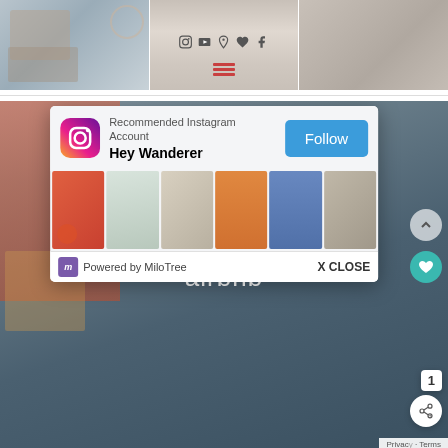[Figure (screenshot): Top strip of three photos: left shows a cozy bedroom interior, center shows a road vanishing into the horizon with social media icons (Instagram, YouTube, Pinterest, heart/Bloglovin, Facebook) and a red hamburger menu icon, right shows a mountain/landscape scene]
[Figure (screenshot): Main section showing an Airbnb listing page with the Airbnb logo (loop symbol and 'airbnb' text in white) overlaid on a blurred interior/exterior photo, with a MiloTree Instagram popup card in the foreground recommending 'Hey Wanderer' account with a Follow button, popup images strip, and 'Powered by MiloTree / X CLOSE' footer. Right side has up arrow, teal heart, share and counter buttons. Privacy and Terms link at bottom right.]